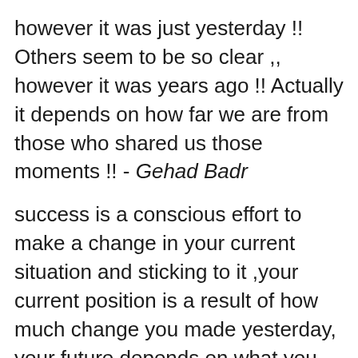however it was just yesterday !! Others seem to be so clear ,, however it was years ago !! Actually it depends on how far we are from those who shared us those moments !! - Gehad Badr
success is a conscious effort to make a change in your current situation and sticking to it ,your current position is a result of how much change you made yesterday, your future depends on what you are willing to change today. - KV Findthings
the fact that every people feel itself threatened by the others gives the state it's